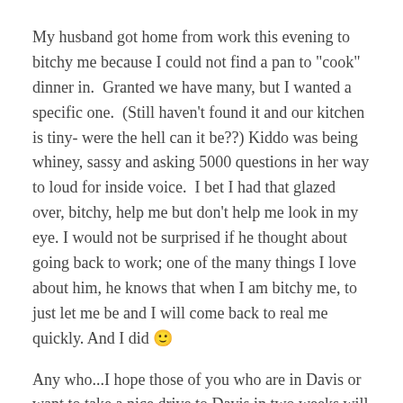My husband got home from work this evening to bitchy me because I could not find a pan to "cook" dinner in. Granted we have many, but I wanted a specific one. (Still haven't found it and our kitchen is tiny- were the hell can it be??) Kiddo was being whiney, sassy and asking 5000 questions in her way to loud for inside voice. I bet I had that glazed over, bitchy, help me but don't help me look in my eye. I would not be surprised if he thought about going back to work; one of the many things I love about him, he knows that when I am bitchy me, to just let me be and I will come back to real me quickly. And I did 🙂
Any who...I hope those of you who are in Davis or want to take a nice drive to Davis in two weeks will be attending "the" show and thanks for reading my rant, off to dream land, hopefully not about sewing